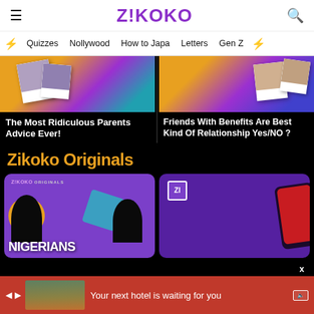ZIKOKO
Quizzes
Nollywood
How to Japa
Letters
Gen Z
[Figure (photo): Article thumbnail showing polaroid photos on colorful background]
The Most Ridiculous Parents Advice Ever!
[Figure (photo): Article thumbnail showing polaroid photos on colorful background]
Friends With Benefits Are Best Kind Of Relationship Yes/NO ?
Zikoko Originals
[Figure (photo): Zikoko Originals card showing NIGERIANS title with silhouettes on purple background]
[Figure (photo): Zikoko Originals card with ZI logo on purple background]
Your next hotel is waiting for you